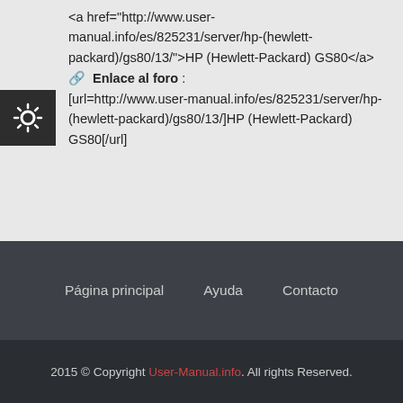<a href="http://www.user-manual.info/es/825231/server/hp-(hewlett-packard)/gs80/13/">HP (Hewlett-Packard) GS80</a>
🔗 Enlace al foro : [url=http://www.user-manual.info/es/825231/server/hp-(hewlett-packard)/gs80/13/]HP (Hewlett-Packard) GS80[/url]
Página principal   Ayuda   Contacto
2015 © Copyright User-Manual.info. All rights Reserved.